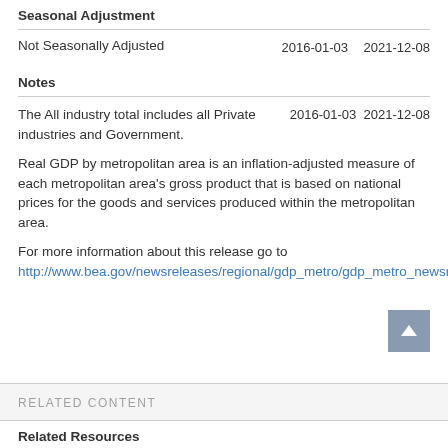Seasonal Adjustment
Not Seasonally Adjusted    2016-01-03    2021-12-08
Notes
The All industry total includes all Private industries and Government.    2016-01-03    2021-12-08
Real GDP by metropolitan area is an inflation-adjusted measure of each metropolitan area's gross product that is based on national prices for the goods and services produced within the metropolitan area.
For more information about this release go to http://www.bea.gov/newsreleases/regional/gdp_metro/gdp_metro_newsrelease.htm.
RELATED CONTENT
Related Resources